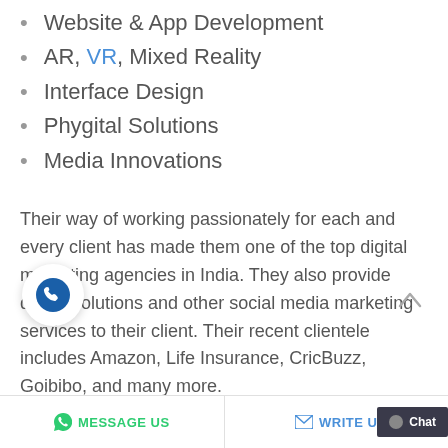Website & App Development
AR, VR, Mixed Reality
Interface Design
Phygital Solutions
Media Innovations
Their way of working passionately for each and every client has made them one of the top digital marketing agencies in India. They also provide digital solutions and other social media marketing services to their client. Their recent clientele includes Amazon, Life Insurance, CricBuzz, Goibibo, and many more.
MESSAGE US   WRITE US   Chat